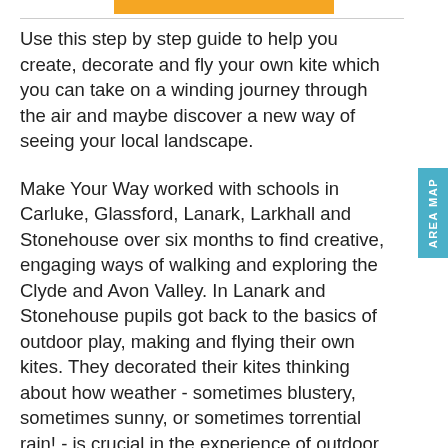Use this step by step guide to help you create, decorate and fly your own kite which you can take on a winding journey through the air and maybe discover a new way of seeing your local landscape.

Make Your Way worked with schools in Carluke, Glassford, Lanark, Larkhall and Stonehouse over six months to find creative, engaging ways of walking and exploring the Clyde and Avon Valley. In Lanark and Stonehouse pupils got back to the basics of outdoor play, making and flying their own kites. They decorated their kites thinking about how weather - sometimes blustery, sometimes sunny, or sometimes torrential rain! - is crucial in the experience of outdoor play (and sometimes a bit of rain and bluster is just as much